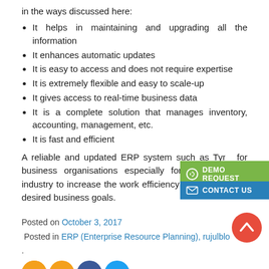in the ways discussed here:
It helps in maintaining and upgrading all the information
It enhances automatic updates
It is easy to access and does not require expertise
It is extremely flexible and easy to scale-up
It gives access to real-time business data
It is a complete solution that manages inventory, accounting, management, etc.
It is fast and efficient
A reliable and updated ERP system such as Tyr... for business organisations especially for the on... tyre industry to increase the work efficiency and achieve the desired business goals.
Posted on October 3, 2017
Posted in ERP (Enterprise Resource Planning), rujulblo...
.
[Figure (illustration): Social sharing icons (RSS, email, Facebook, Twitter) at the bottom of the page]